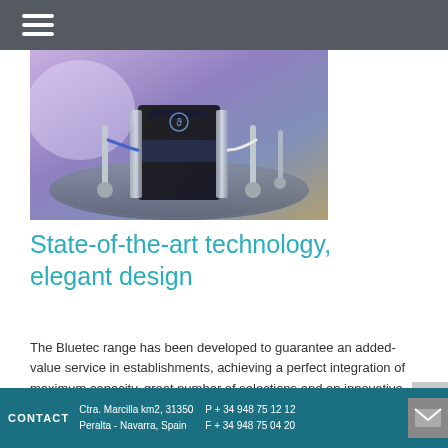[Figure (photo): Photo of a Bluetec vending machine unit with stainless steel and glass finish, displayed on a decorative tiled platform with blue rope barriers, under purple ambient lighting]
State-of-the-art technology, elegant design
The Bluetec range has been developed to guarantee an added-value service in establishments, achieving a perfect integration of maximum capacity, great number of selections and an innovative design, with a finish of stainless steel and glass, which provides an elegant and modern image. Its front panel, with a graphic
CONTACT  Ctra. Marcilla km2, 31350  P + 34 948 75 12 12  Peralta - Navarra, Spain  F + 34 948 75 04 20